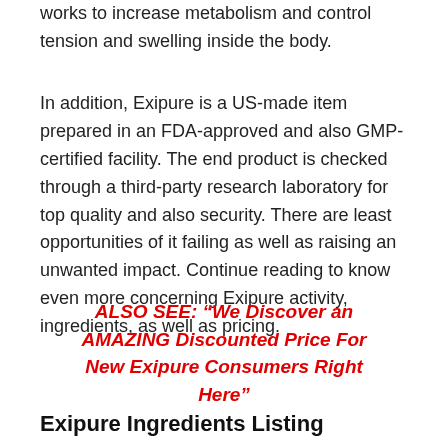works to increase metabolism and control tension and swelling inside the body.
In addition, Exipure is a US-made item prepared in an FDA-approved and also GMP-certified facility. The end product is checked through a third-party research laboratory for top quality and also security. There are least opportunities of it failing as well as raising an unwanted impact. Continue reading to know even more concerning Exipure activity, ingredients, as well as pricing.
ALSO SEE: “We Discover an AMAZING Discounted Price For New Exipure Consumers Right Here”
Exipure Ingredients Listing